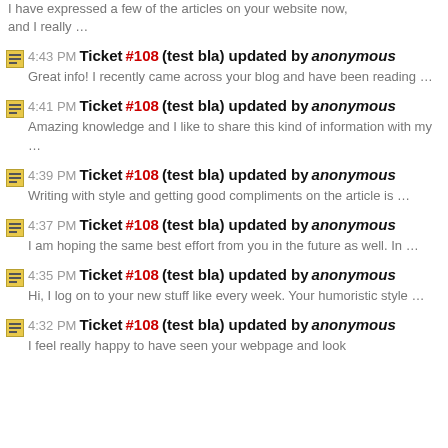I have expressed a few of the articles on your website now, and I really …
4:43 PM Ticket #108 (test bla) updated by anonymous
Great info! I recently came across your blog and have been reading …
4:41 PM Ticket #108 (test bla) updated by anonymous
Amazing knowledge and I like to share this kind of information with my …
4:39 PM Ticket #108 (test bla) updated by anonymous
Writing with style and getting good compliments on the article is …
4:37 PM Ticket #108 (test bla) updated by anonymous
I am hoping the same best effort from you in the future as well. In …
4:35 PM Ticket #108 (test bla) updated by anonymous
Hi, I log on to your new stuff like every week. Your humoristic style …
4:32 PM Ticket #108 (test bla) updated by anonymous
I feel really happy to have seen your webpage and look